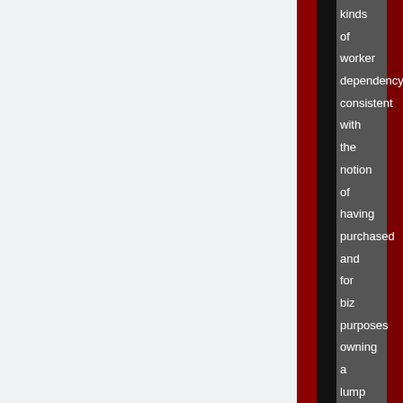kinds of worker dependency consistent with the notion of having purchased and for biz purposes owning a lump of labor with various needs